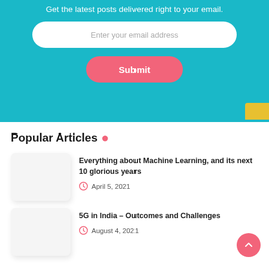Get the latest posts delivered right to your email.
Enter your email address
Submit
Popular Articles .
Everything about Machine Learning, and its next 10 glorious years
April 5, 2021
5G in India – Outcomes and Challenges
August 4, 2021